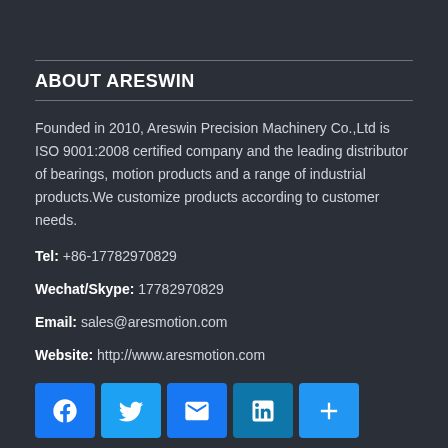ABOUT ARESWIN
Founded in 2010, Areswin Precision Machinery Co.,Ltd is ISO 9001:2008 certified company and the leading distributor of bearings, motion products and a range of industrial products.We customize products according to customer needs.
Tel: +86-17782970829
Wechat/Skype: 17782970829
Email: sales@aresmotion.com
Website: http://www.aresmotion.com
[Figure (infographic): Social media sharing icons: Facebook, Twitter, Email, LinkedIn, Share (+)]